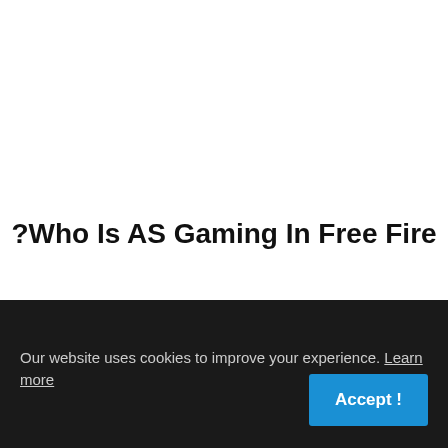Who Is AS Gaming In Free Fire?
Sahil Rana, aka AS Gaming, is undoubtedly one of the creators of the most triple-crown free fire content in India. Last year was very fruitful for Sahil, he crossed the thirteen million mark and became the second
Our website uses cookies to improve your experience. Learn more
Accept!